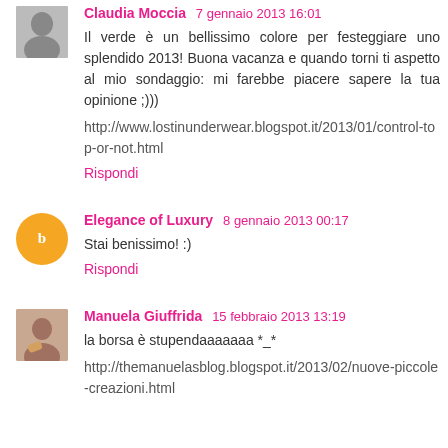Claudia Moccia · 7 gennaio 2013 16:01
Il verde è un bellissimo colore per festeggiare uno splendido 2013! Buona vacanza e quando torni ti aspetto al mio sondaggio: mi farebbe piacere sapere la tua opinione ;)))
http://www.lostinunderwear.blogspot.it/2013/01/control-top-or-not.html
Rispondi
Elegance of Luxury · 8 gennaio 2013 00:17
Stai benissimo! :)
Rispondi
Manuela Giuffrida · 15 febbraio 2013 13:19
la borsa è stupendaaaaaaa *_*
http://themanuelasblog.blogspot.it/2013/02/nuove-piccole-creazioni.html